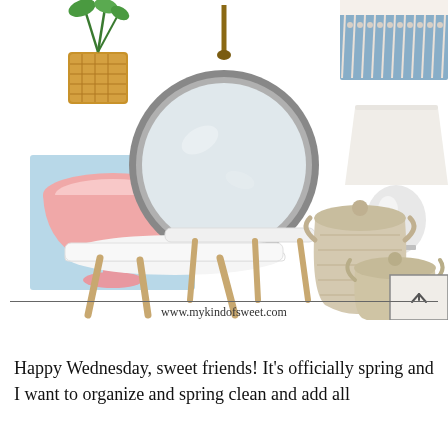[Figure (photo): A collage of home decor items on a white background: a wicker plant pot with a plant (top left), a pink pedestal bowl (middle left), a round hanging mirror with leather strap (center), decorative macrame wall hanging (top right), a white table lamp (right), two white nesting side tables with wooden legs (bottom left), and a set of woven storage baskets with lids and handles (bottom right). Below the collage is a horizontal rule and the website URL www.mykindofsweet.com]
Happy Wednesday, sweet friends! It's officially spring and I want to organize and spring clean and add all